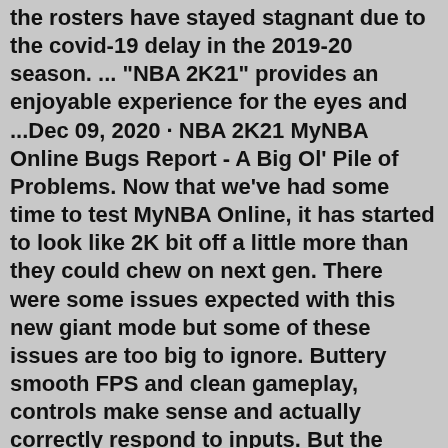the rosters have stayed stagnant due to the covid-19 delay in the 2019-20 season. ... "NBA 2K21" provides an enjoyable experience for the eyes and ...Dec 09, 2020 · NBA 2K21 MyNBA Online Bugs Report - A Big Ol' Pile of Problems. Now that we've had some time to test MyNBA Online, it has started to look like 2K bit off a little more than they could chew on next gen. There were some issues expected with this new giant mode but some of these issues are too big to ignore. Buttery smooth FPS and clean gameplay, controls make sense and actually correctly respond to inputs. But the second you hop online the lag/input delay makes it a completely different game. It forces you to test how shitty the connection is first. Then you have to purposely mistime your shots to compensate for the delay. What a terrible experience.NBA 2K21 is the latest title in the world-renowned, best-selling NBA 2K series, delivering an industry-leading sports video game experience. With extensive improvements upon its best-in-class graphics and gameplay, competitive and community online features, and deep, varied